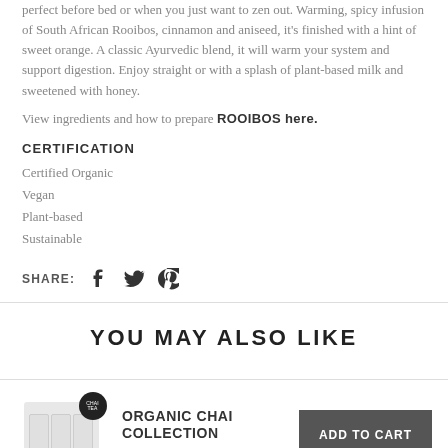perfect before bed or when you just want to zen out. Warming, spicy infusion of South African Rooibos, cinnamon and aniseed, it’s finished with a hint of sweet orange. A classic Ayurvedic blend, it will warm your system and support digestion. Enjoy straight or with a splash of plant-based milk and sweetened with honey.
View ingredients and how to prepare ROOIBOS here.
CERTIFICATION
Certified Organic
Vegan
Plant-based
Sustainable
SHARE:
YOU MAY ALSO LIKE
ORGANIC CHAI COLLECTION
$125.00